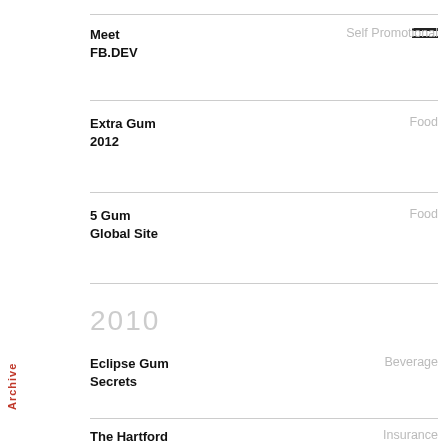Meet FB.DEV — Self Promotional
Extra Gum 2012 — Food
5 Gum Global Site — Food
2010
Eclipse Gum Secrets — Beverage
The Hartford — Insurance
Archive